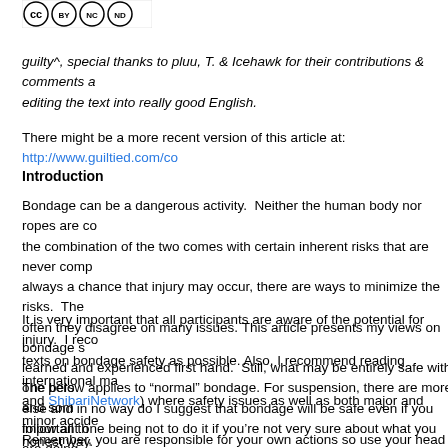[Figure (logo): Creative Commons BY NC ND license badge]
guilty^, special thanks to pluu, T. & Icehawk for their contributions & comments and editing the text into really good English.
There might be a more recent version of this article at: http://www.guiltied.com/co
Introduction
Bondage can be a dangerous activity. Neither the human body nor ropes are com the combination of the two comes with certain inherent risks that are never comp always a chance that injury may occur, there are ways to minimize the risks. The often they disagree on many issues. This article presents my views on bondage s learned and experienced first hand. Still, what may be entirely safe with one pers else and in no way do I suggest that bondage will be safe even if you follow all th
It is very important that all participants are aware of the potential for injury. I reco texts on bondage safety as possible. Also, I recommend reading international ma and ShibariNetwork) where safety issues as well as both major and minor accide honest way.
The below applies to “normal” bondage. For suspension, there are more and som important one being not to do it if you’re not very sure about what you are doing. recommendation in general anyway — know what you are doing and don’t go too
Remember, you are responsible for your own actions so use your head and wher